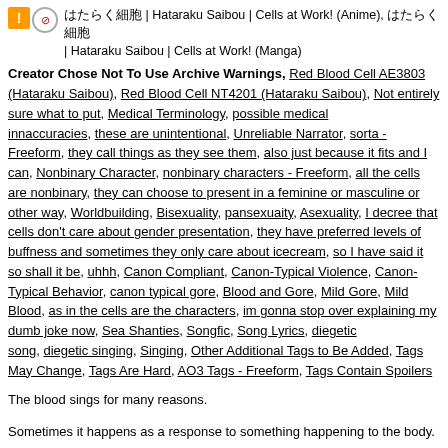はたらく細胞 | Hataraku Saibou | Cells at Work! (Anime), はたらく細胞 | Hataraku Saibou | Cells at Work! (Manga)
Creator Chose Not To Use Archive Warnings, Red Blood Cell AE3803 (Hataraku Saibou), Red Blood Cell NT4201 (Hataraku Saibou), Not entirely sure what to put, Medical Terminology, possible medical innaccuracies, these are unintentional, Unreliable Narrator, sorta - Freeform, they call things as they see them, also just because it fits and I can, Nonbinary Character, nonbinary characters - Freeform, all the cells are nonbinary, they can choose to present in a feminine or masculine or other way, Worldbuilding, Bisexuality, pansexuaity, Asexuality, I decree that cells don't care about gender presentation, they have preferred levels of buffness and sometimes they only care about icecream, so I have said it so shall it be, uhhh, Canon Compliant, Canon-Typical Violence, Canon-Typical Behavior, canon typical gore, Blood and Gore, Mild Gore, Mild Blood, as in the cells are the characters, im gonna stop over explaining my dumb joke now, Sea Shanties, Songfic, Song Lyrics, diegetic song, diegetic singing, Singing, Other Additional Tags to Be Added, Tags May Change, Tags Are Hard, AO3 Tags - Freeform, Tags Contain Spoilers
The blood sings for many reasons.
Sometimes it happens as a response to something happening to the body.